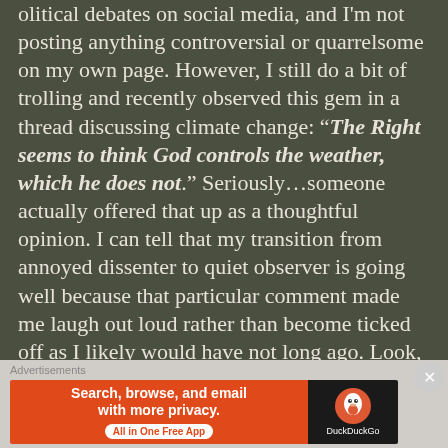olitical debates on social media, and I'm not posting anything controversial or quarrelsome on my own page. However, I still do a bit of trolling and recently observed this gem in a thread discussing climate change: “The Right seems to think God controls the weather, which he does not.” Seriously…someone actually offered that up as a thoughtful opinion. I can tell that my transition from annoyed dissenter to quiet observer is going well because that particular comment made me laugh out loud rather than become ticked off as I likely would have not long ago. Look, to each their own. I understand that people have a variety of spiritual & theological views, and that’s fine. However, my Bible tells me…in the 8th chapter of Matthew…that “when Jesus got into a boat, His disciples followed Him. And suddenly a great tempest arose on the sea, so that the
[Figure (infographic): DuckDuckGo advertisement banner: orange left panel with text 'Search, browse, and email with more privacy. All in One Free App' and black right panel with DuckDuckGo logo and brand name.]